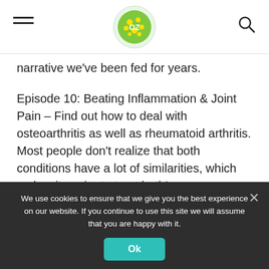[OZ logo] [hamburger menu] [search icon]
narrative we've been fed for years.
Episode 10: Beating Inflammation & Joint Pain – Find out how to deal with osteoarthritis as well as rheumatoid arthritis. Most people don't realize that both conditions have a lot of similarities, which makes it easier to treat both!
You'll also learn how to eliminate the critical factors that contribute to inflammation, so you can live a
We use cookies to ensure that we give you the best experience on our website. If you continue to use this site we will assume that you are happy with it.